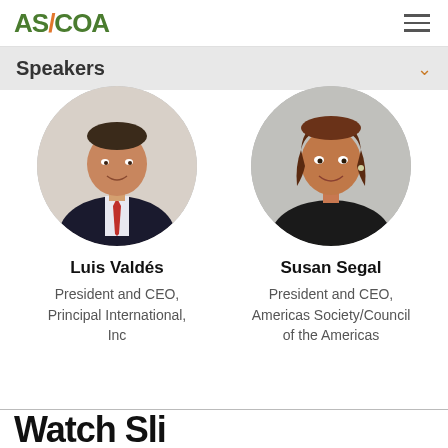AS/COA
Speakers
[Figure (photo): Circular portrait photo of Luis Valdés, a man in a dark suit with a red tie, smiling]
Luis Valdés
President and CEO, Principal International, Inc
[Figure (photo): Circular portrait photo of Susan Segal, a woman with brown hair and earrings, smiling]
Susan Segal
President and CEO, Americas Society/Council of the Americas
Watch Sli...